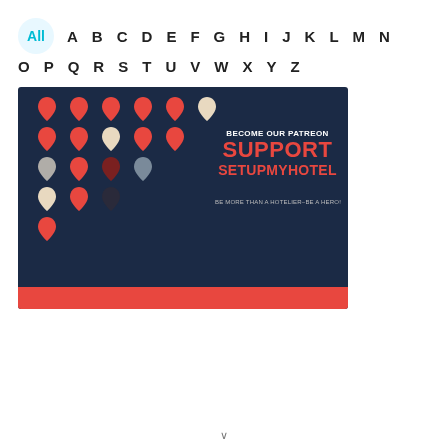All  A  B  C  D  E  F  G  H  I  J  K  L  M  N
O  P  Q  R  S  T  U  V  W  X  Y  Z
[Figure (illustration): Dark navy background with a grid of heart icons in various colors (red, cream, grey, dark red), text reading BECOME OUR PATREON SUPPORT SETUPMYHOTEL BE MORE THAN A HOTELIER-BE A HERO! with a red bar at the bottom.]